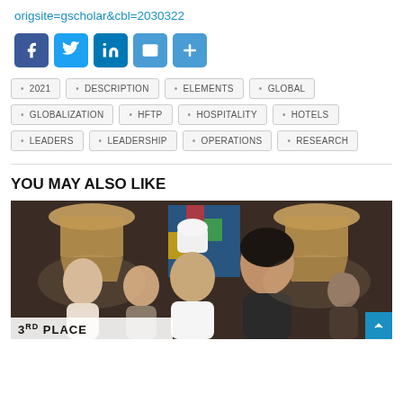origsite=gscholar&cbl=2030322
[Figure (infographic): Social sharing icons row: Facebook (blue), Twitter (blue), LinkedIn (blue), Email (blue envelope), Share/Plus (blue)]
2021
DESCRIPTION
ELEMENTS
GLOBAL
GLOBALIZATION
HFTP
HOSPITALITY
HOTELS
LEADERS
LEADERSHIP
OPERATIONS
RESEARCH
YOU MAY ALSO LIKE
[Figure (photo): Group of hospitality workers including a woman in the foreground, a chef in white uniform and hat, and other staff smiling at camera in a hotel/restaurant setting with pendant lamps. Partial text '3RD PLACE' visible at bottom.]